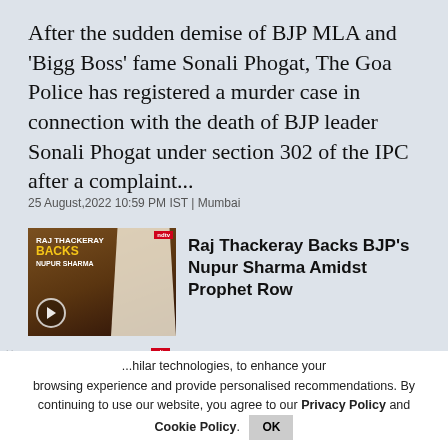After the sudden demise of BJP MLA and 'Bigg Boss' fame Sonali Phogat, The Goa Police has registered a murder case in connection with the death of BJP leader Sonali Phogat under section 302 of the IPC after a complaint...
25 August,2022 10:59 PM IST | Mumbai
[Figure (screenshot): News thumbnail showing Raj Thackeray with text 'RAJ THACKERAY BACKS NUPUR SHARMA' on a dark background with NDTV badge and play button]
Raj Thackeray Backs BJP's Nupur Sharma Amidst Prophet Row
[Figure (photo): Photo of hands gripping prison bars, close-up shot]
Alia Bhatt On Her Childhood Wish To [Work] With Sanjay Leela Bhansali
...hilar technologies, to enhance your browsing experience and provide personalised recommendations. By continuing to use our website, you agree to our Privacy Policy and Cookie Policy.